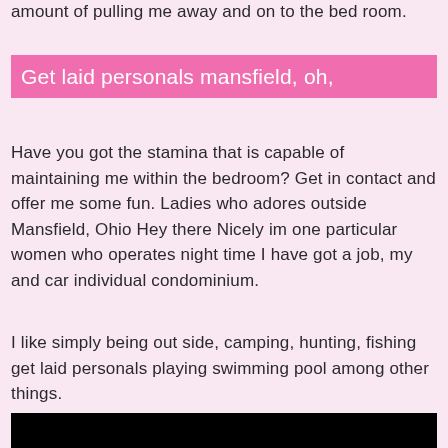amount of pulling me away and on to the bed room.
Get laid personals mansfield, oh,
Have you got the stamina that is capable of maintaining me within the bedroom? Get in contact and offer me some fun. Ladies who adores outside Mansfield, Ohio Hey there Nicely im one particular women who operates night time I have got a job, my and car individual condominium.
I like simply being out side, camping, hunting, fishing get laid personals playing swimming pool among other things.
[Figure (photo): Dark/black image at the bottom of the page]